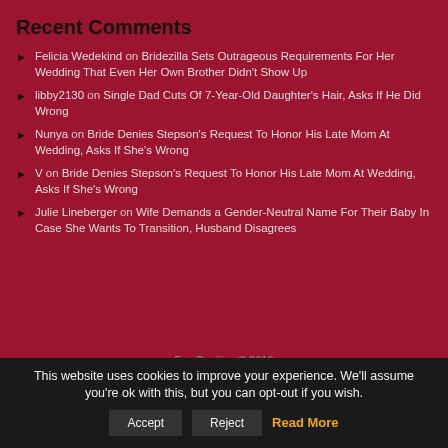Recent Comments
Felicia Wedekind on Bridezilla Sets Outrageous Requirements For Her Wedding That Even Her Own Brother Didn't Show Up
libby2130 on Single Dad Cuts Of 7-Year-Old Daughter's Hair, Asks If He Did Wrong
Nunya on Bride Denies Stepson's Request To Honor His Late Mom At Wedding, Asks If She's Wrong
V on Bride Denies Stepson's Request To Honor His Late Mom At Wedding, Asks If She's Wrong
Julie Lineberger on Wife Demands a Gender-Neutral Name For Their Baby In Case She Wants To Transition, Husband Disagrees
FemPositive © 2019
This website uses cookies to improve your experience. We'll assume you're ok with this, but you can opt-out if you wish.
Accept  Reject  Read More